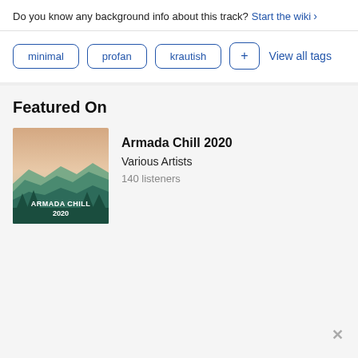Do you know any background info about this track? Start the wiki >
minimal
profan
krautish
+ View all tags
Featured On
[Figure (photo): Album cover for Armada Chill 2020 showing stylized mountain landscape in green and beige tones with text ARMADA CHILL 2020]
Armada Chill 2020
Various Artists
140 listeners